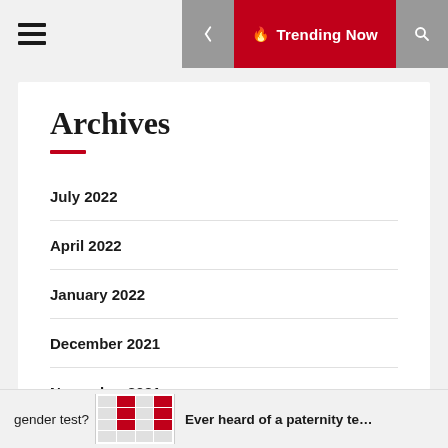≡  🔥 Trending Now 🔍
Archives
July 2022
April 2022
January 2022
December 2021
November 2021
gender test?   [table image]   Ever heard of a paternity te…